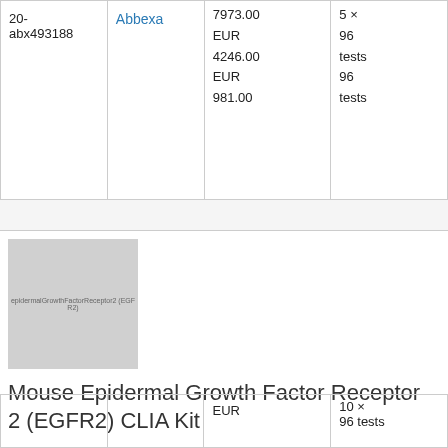| ID | Brand | Price | Size |
| --- | --- | --- | --- |
| 20-abx493188 | Abbexa | 7973.00
EUR 4246.00
EUR 981.00 | 5 × 96 tests
96 tests |
[Figure (photo): Placeholder image for Mouse Epidermal Growth Factor Receptor 2 (EGFR2) CLIA Kit product]
Mouse Epidermal Growth Factor Receptor 2 (EGFR2) CLIA Kit
| ID | Brand | Price | Size |
| --- | --- | --- | --- |
|  |  | EUR | 10 × 96 tests |